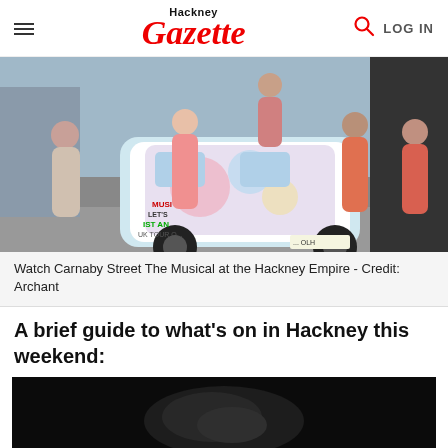Hackney Gazette — LOG IN
[Figure (photo): Group of cast members from Carnaby Street The Musical posing with a decorated London taxi cab on a street, wearing 1960s style costumes.]
Watch Carnaby Street The Musical at the Hackney Empire - Credit: Archant
A brief guide to what's on in Hackney this weekend:
[Figure (photo): Dark, partially visible black and white photograph, content unclear.]